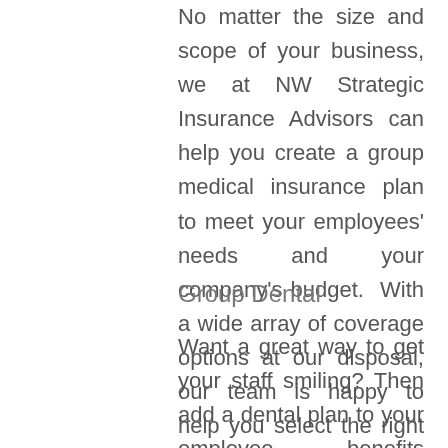No matter the size and scope of your business, we at NW Strategic Insurance Advisors can help you create a group medical insurance plan to meet your employees' needs and your company's budget.  With a wide array of coverage options at our disposal, our team is happy to help you select the right coverages and implement your employee medical plan.
Group Dental
Want a great way to get your staff smiling? Then add a dental plan to your employee benefits package.  The experts at NW Strategic Insurance Advisors are ready to help you create a dental plan that focuses on what your staff needs the most.  From